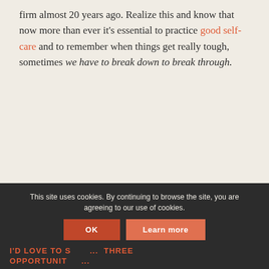firm almost 20 years ago. Realize this and know that now more than ever it's essential to practice good self-care and to remember when things get really tough, sometimes we have to break down to break through.
This site uses cookies. By continuing to browse the site, you are agreeing to our use of cookies.
I'D LOVE TO S... THREE OPPORTUNIT...